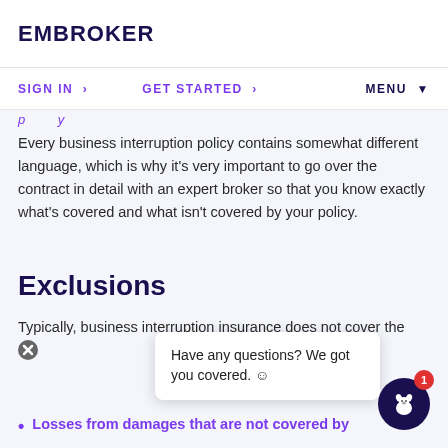EMBROKER
SIGN IN >   GET STARTED >   MENU
(partial heading text, truncated)
Every business interruption policy contains somewhat different language, which is why it's very important to go over the contract in detail with an expert broker so that you know exactly what's covered and what isn't covered by your policy.
Exclusions
Typically, business interruption insurance does not cover the following:
Losses from damages that are not covered by